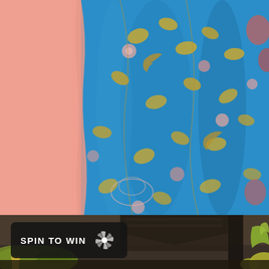[Figure (photo): Close-up photograph of a person wearing a vibrant blue silk garment with intricate floral and bird patterns in gold, pink, and coral tones. A peach/salmon colored garment is visible on the left side.]
[Figure (photo): Bottom strip photograph showing an outdoor scene with green plants/leaves on the right, a dark rooftop structure in the middle, and blurred background.]
SPIN TO WIN